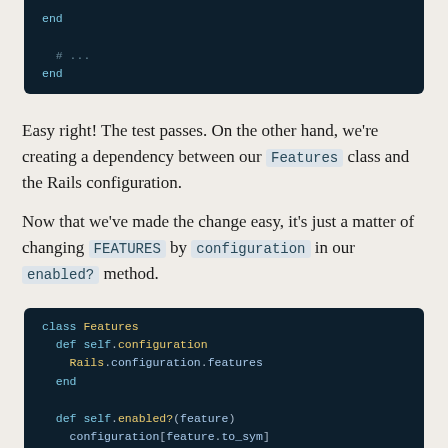[Figure (screenshot): Code block snippet showing end and # ... end lines in dark theme editor]
Easy right! The test passes. On the other hand, we're creating a dependency between our Features class and the Rails configuration.
Now that we've made the change easy, it's just a matter of changing FEATURES by configuration in our enabled? method.
[Figure (screenshot): Code block showing class Features with def self.configuration returning Rails.configuration.features and def self.enabled?(feature) returning configuration[feature.to_sym] end end]